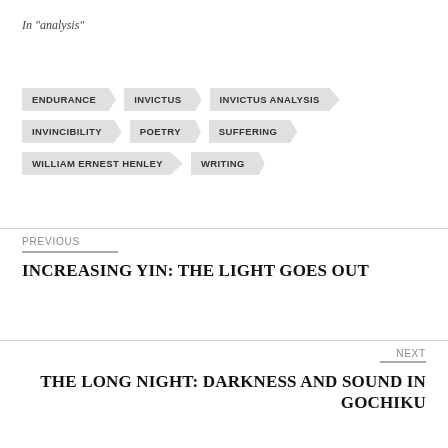In "analysis"
ENDURANCE
INVICTUS
INVICTUS ANALYSIS
INVINCIBILITY
POETRY
SUFFERING
WILLIAM ERNEST HENLEY
WRITING
PREVIOUS
INCREASING YIN: THE LIGHT GOES OUT
NEXT
THE LONG NIGHT: DARKNESS AND SOUND IN GOCHIKU